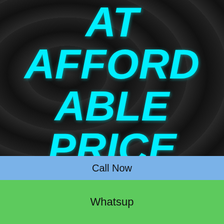AT AFFORDABLE PRICE RATE
Alia Sharma is the #1 phagwara Escorts with Elite and VIP Models who are providing eortic services.
[Figure (infographic): Book Now banner with red button, chevrons, and gold star badge]
Call Now
Whatsup